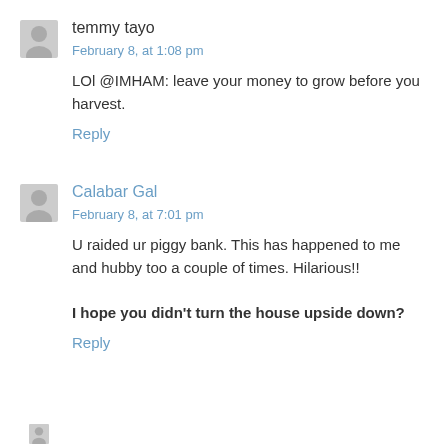temmy tayo
February 8, at 1:08 pm
LOl @IMHAM: leave your money to grow before you harvest.
Reply
Calabar Gal
February 8, at 7:01 pm
U raided ur piggy bank. This has happened to me and hubby too a couple of times. Hilarious!! I hope you didn't turn the house upside down?
Reply